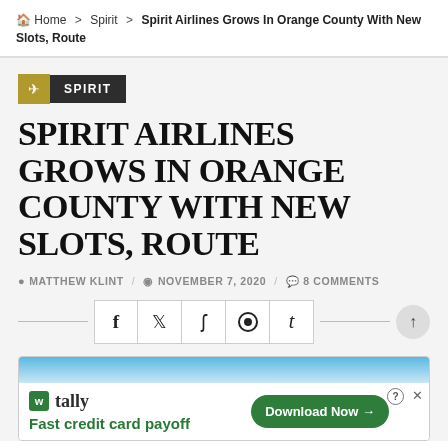Home > Spirit > Spirit Airlines Grows In Orange County With New Slots, Route
SPIRIT
SPIRIT AIRLINES GROWS IN ORANGE COUNTY WITH NEW SLOTS, ROUTE
MATTHEW KLINT / NOVEMBER 7, 2020 / 8 COMMENTS
[Figure (other): Social share buttons for Facebook, Twitter, StumbleUpon, Reddit, and Tumblr with horizontal divider lines]
[Figure (other): Advertisement banner: Tally app - Fast credit card payoff, Download Now button]